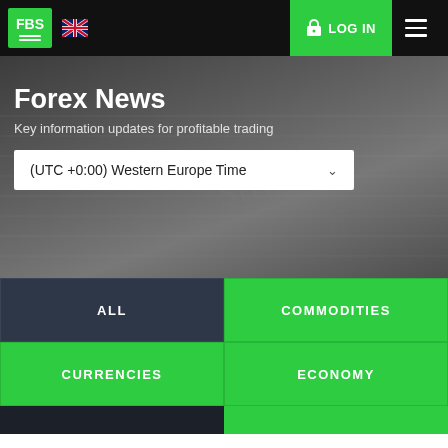FBS | LOG IN | Navigation
Forex News
Key information updates for profitable trading
(UTC +0:00) Western Europe Time
ALL
COMMODITIES
CURRENCIES
ECONOMY
Data collection notice
FBS maintains a record of your data to run this website. By pressing the "Accept" button, you agree to our Privacy policy